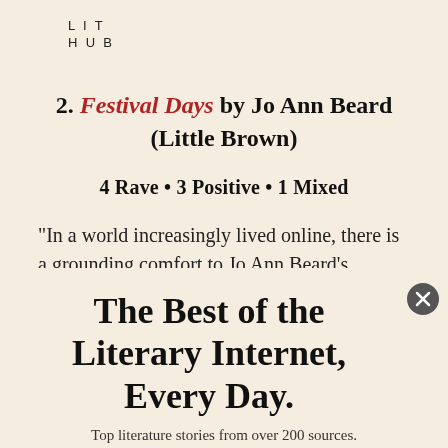LIT
HUB
2. Festival Days by Jo Ann Beard (Little Brown)
4 Rave • 3 Positive • 1 Mixed
“In a world increasingly lived online, there is a grounding comfort to Jo Ann Beard’s
The Best of the Literary Internet, Every Day.
Top literature stories from over 200 sources.
SUBSCRIBE